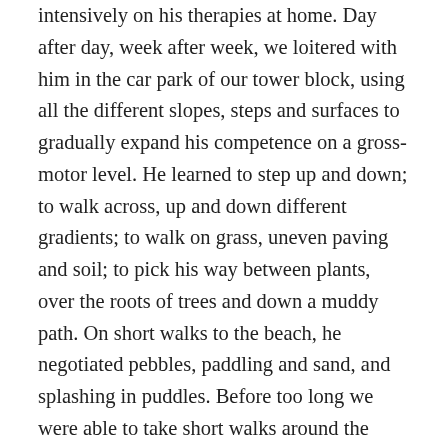intensively on his therapies at home. Day after day, week after week, we loitered with him in the car park of our tower block, using all the different slopes, steps and surfaces to gradually expand his competence on a gross-motor level. He learned to step up and down; to walk across, up and down different gradients; to walk on grass, uneven paving and soil; to pick his way between plants, over the roots of trees and down a muddy path. On short walks to the beach, he negotiated pebbles, paddling and sand, and splashing in puddles. Before too long we were able to take short walks around the block, and Sacha was starting to take pleasure in feeling a little more autonomous; he developed a new favourite game known as “You’re going the wrong way Sacha!”. It is, of course, easier to delight in little acts of naughtiness and insubordination when you start to be able to make decisions and to do things